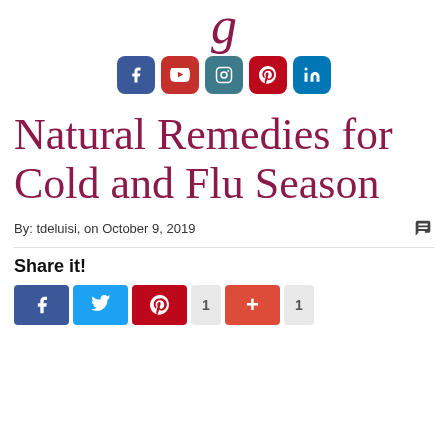g (logo letter, partial)
[Figure (infographic): Row of social media icon buttons: Facebook, YouTube, Instagram, Pinterest, LinkedIn]
Natural Remedies for Cold and Flu Season
By: tdeluisi, on October 9, 2019
Share it!
[Figure (infographic): Share buttons row: Facebook (blue), Twitter (light blue), Pinterest (red), count badge '1', Google+ / add button (orange-red), count badge '1']